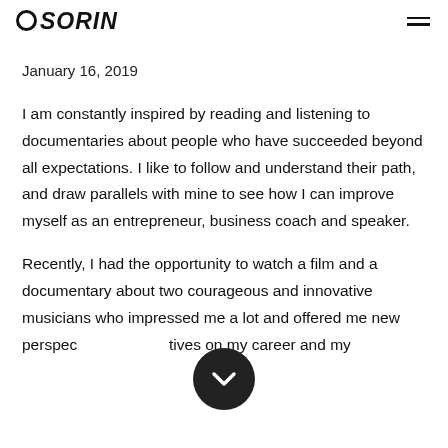SORIN
January 16, 2019
I am constantly inspired by reading and listening to documentaries about people who have succeeded beyond all expectations. I like to follow and understand their path, and draw parallels with mine to see how I can improve myself as an entrepreneur, business coach and speaker.
Recently, I had the opportunity to watch a film and a documentary about two courageous and innovative musicians who impressed me a lot and offered me new perspectives on my career and my